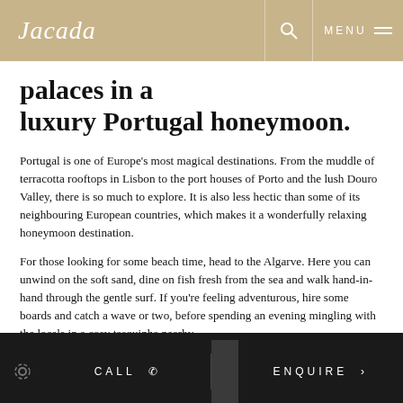Jacada  MENU
palaces in a luxury Portugal honeymoon.
Portugal is one of Europe's most magical destinations. From the muddle of terracotta rooftops in Lisbon to the port houses of Porto and the lush Douro Valley, there is so much to explore. It is also less hectic than some of its neighbouring European countries, which makes it a wonderfully relaxing honeymoon destination.
For those looking for some beach time, head to the Algarve. Here you can unwind on the soft sand, dine on fish fresh from the sea and walk hand-in-hand through the gentle surf. If you're feeling adventurous, hire some boards and catch a wave or two, before spending an evening mingling with the locals in a cosy tasquinha nearby.
CALL  ENQUIRE